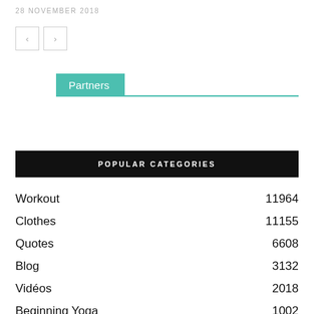28 NOVEMBER 2018
[Figure (other): Navigation previous/next arrow buttons]
Partners
POPULAR CATEGORIES
Workout 11964
Clothes 11155
Quotes 6608
Blog 3132
Vidéos 2018
Beginning Yoga 1002